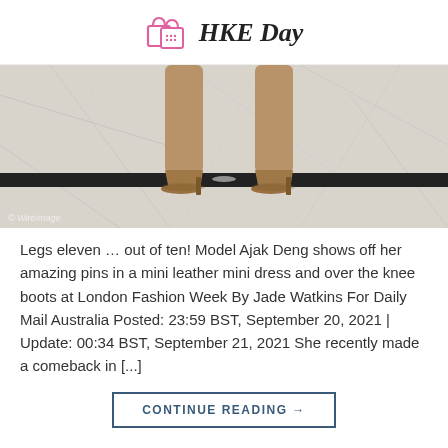HKE Day
[Figure (photo): Close-up of a person's legs wearing tan/nude over-the-knee boots standing on a white marble floor with black trim. Photo credit: © WireImage]
Legs eleven … out of ten! Model Ajak Deng shows off her amazing pins in a mini leather mini dress and over the knee boots at London Fashion Week By Jade Watkins For Daily Mail Australia Posted: 23:59 BST, September 20, 2021 | Update: 00:34 BST, September 21, 2021 She recently made a comeback in [...]
CONTINUE READING →